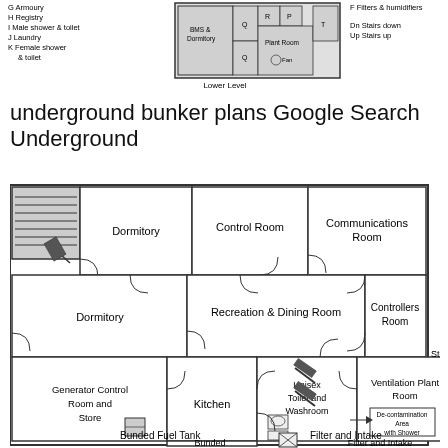[Figure (schematic): Top portion: Lower level underground bunker floor plan showing BMS & Dormitory, Plant Room with Fan, rooms R, P, Q, Q labeled, with legend items including G Armoury, H Registry, I Male shower & toilet, J Laundry, K Female shower & toilet, and notes for Filters & humidifiers, Dn Stairs down, Up Stairs up. Labeled 'Lower Level' at bottom.]
underground bunker plans Google Search Underground
[Figure (engineering-diagram): Main underground bunker floor plan showing: Dormitory (upper left), Control Room (upper center), Communications Room (upper right), Dormitory (mid left), Recreation & Dining Room (center), Controllers Room (right center), Generator Control Room and Store (lower left), Kitchen (lower center-left), Unisex Toilet and Washroom (lower center), Ventilation Plant Room with De-contamination Area with Shower (lower right), Store (far right), Bunded Fuel Tank (bottom center), Filter and Intake (bottom right). Stairs shown upper left corner.]